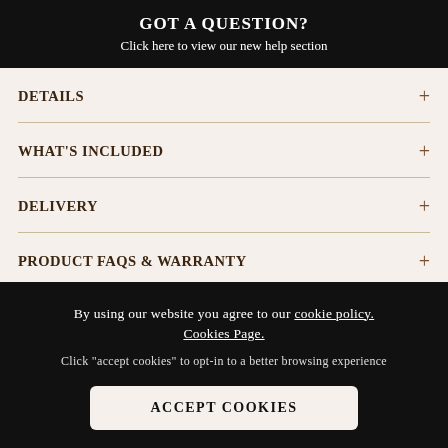GOT A QUESTION? Click here to view our new help section
DETAILS +
WHAT'S INCLUDED +
DELIVERY +
PRODUCT FAQS & WARRANTY +
By using our website you agree to our cookie policy. Cookies Page.
Click "accept cookies" to opt-in to a better browsing experience
ACCEPT COOKIES